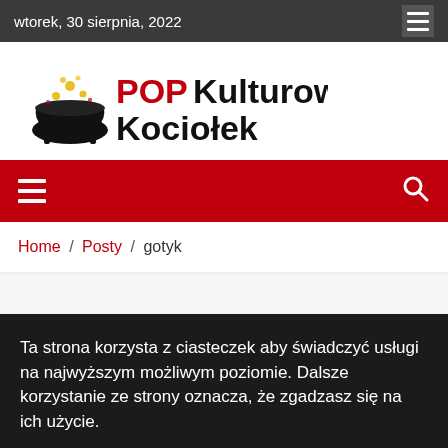wtorek, 30 sierpnia, 2022
[Figure (logo): POPKulturowy Kociołek logo with black cauldron and red POP text]
[Figure (other): Red navigation bar with hamburger menu icon on left and search icon on right]
Home / Posty / gotyk
Ta strona korzysta z ciasteczek aby świadczyć usługi na najwyższym możliwym poziomie. Dalsze korzystanie ze strony oznacza, że zgadzasz się na ich użycie.
Ustawienia  Zgoda